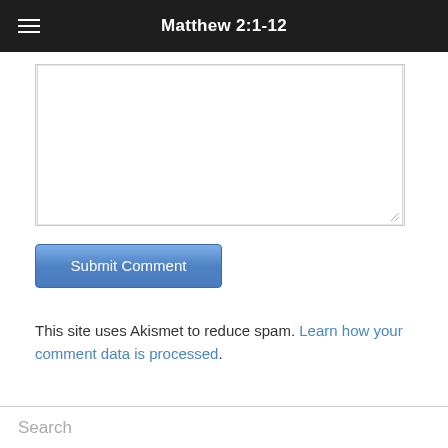Matthew 2:1-12
[Figure (screenshot): Empty textarea input box with resize handle in bottom-right corner]
[Figure (screenshot): Blue Submit Comment button]
This site uses Akismet to reduce spam. Learn how your comment data is processed.
[Figure (screenshot): Search input box with placeholder text 'Search']